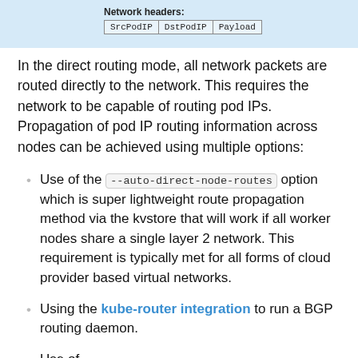[Figure (schematic): Partial network diagram showing a packet header structure with 'Network headers:' label and a table with cells: SrcPodIP, DstPodIP, Payload, on a light blue background.]
In the direct routing mode, all network packets are routed directly to the network. This requires the network to be capable of routing pod IPs. Propagation of pod IP routing information across nodes can be achieved using multiple options:
Use of the --auto-direct-node-routes option which is super lightweight route propagation method via the kvstore that will work if all worker nodes share a single layer 2 network. This requirement is typically met for all forms of cloud provider based virtual networks.
Using the kube-router integration to run a BGP routing daemon.
Use of...